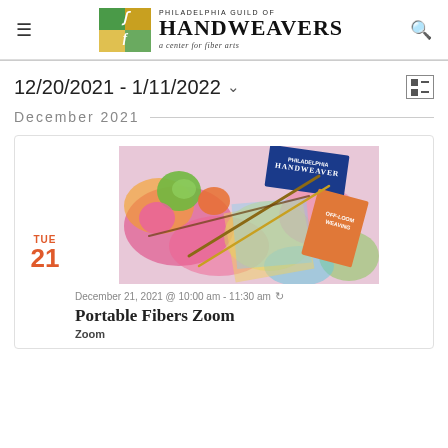Philadelphia Guild of Handweavers — a center for fiber arts
12/20/2021 - 1/11/2022
December 2021
[Figure (photo): Colorful assortment of weaving books, yarn, and materials including Handweaver and Off-Loom Weaving books]
December 21, 2021 @ 10:00 am - 11:30 am
Portable Fibers Zoom
Zoom